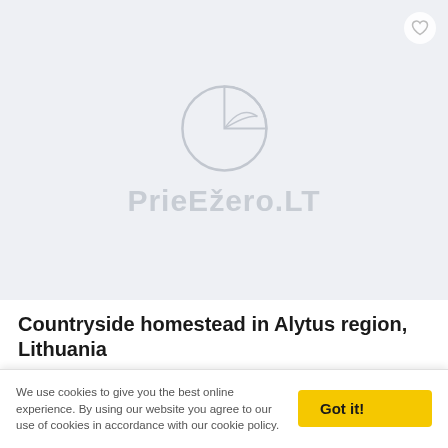[Figure (logo): PrieEžero.LT website logo — a pie-chart-like circle icon and the text 'PrieEžero.LT' in light gray on a light blue-gray background. A heart/favorite button is in the top-right corner.]
Countryside homestead in Alytus region, Lithuania
Paplentės g. 60, Talokių km., Alytus region
Lake Talokiu lake - 400 m, Lake Akis lake - 700 m, Lake Norunu ezerelis lake - 3 km, River Nemunas - 4500 m
We use cookies to give you the best online experience. By using our website you agree to our use of cookies in accordance with our cookie policy.